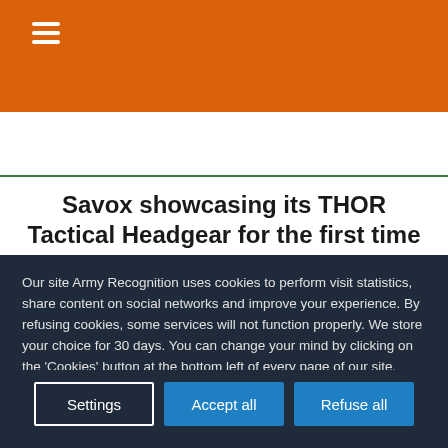≡
Savox showcasing its THOR Tactical Headgear for the first time in South East
Our site Army Recognition uses cookies to perform visit statistics, share content on social networks and improve your experience. By refusing cookies, some services will not function properly. We store your choice for 30 days. You can change your mind by clicking on the 'Cookies' button at the bottom left of every page of our site. Learn more